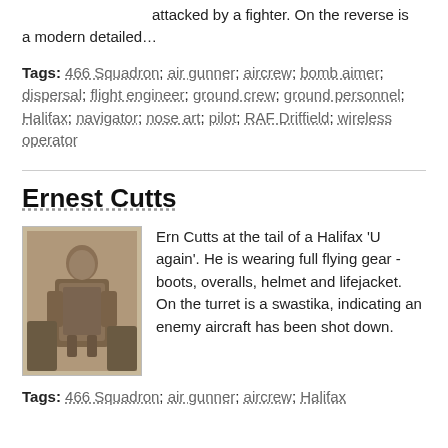attacked by a fighter. On the reverse is a modern detailed…
Tags: 466 Squadron; air gunner; aircrew; bomb aimer; dispersal; flight engineer; ground crew; ground personnel; Halifax; navigator; nose art; pilot; RAF Driffield; wireless operator
Ernest Cutts
[Figure (photo): Sepia photograph of Ern Cutts standing at the tail of a Halifax aircraft in full flying gear.]
Ern Cutts at the tail of a Halifax 'U again'. He is wearing full flying gear - boots, overalls, helmet and lifejacket. On the turret is a swastika, indicating an enemy aircraft has been shot down.
Tags: 466 Squadron; air gunner; aircrew; Halifax